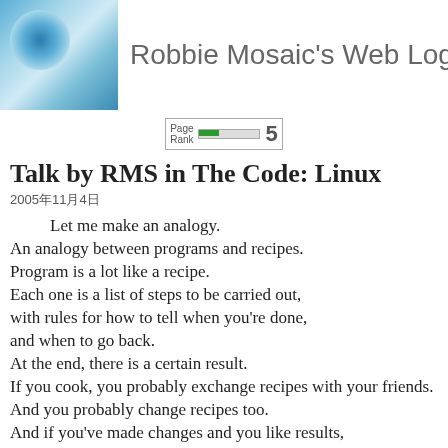Robbie Mosaic's Web Log
[Figure (other): PageRank widget showing rank 5 with green bar]
Talk by RMS in The Code: Linux
2005年11月4日
Let me make an analogy.
An analogy between programs and recipes.
Program is a lot like a recipe.
Each one is a list of steps to be carried out,
with rules for how to tell when you're done,
and when to go back.
At the end, there is a certain result.
If you cook, you probably exchange recipes with your friends.
And you probably change recipes too.
And if you've made changes and you like results,